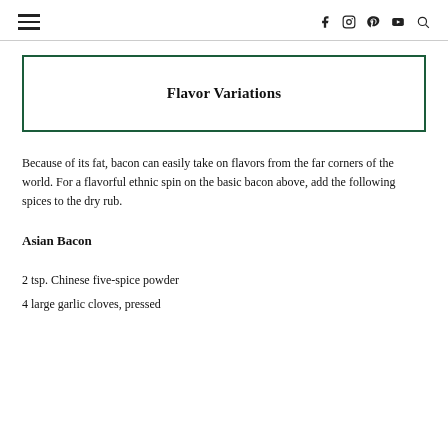Flavor Variations
Because of its fat, bacon can easily take on flavors from the far corners of the world. For a flavorful ethnic spin on the basic bacon above, add the following spices to the dry rub.
Asian Bacon
2 tsp. Chinese five-spice powder
4 large garlic cloves, pressed